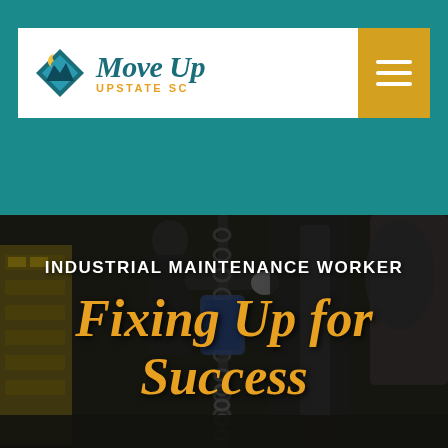[Figure (logo): Move Up Upstate SC logo — diamond-shaped icon with teal mountain silhouette and crescent moon, followed by italic teal text 'Move Up' and yellow uppercase text 'UPSTATE SC']
[Figure (screenshot): Website screenshot showing Move Up Upstate SC navigation bar with logo on white background and a gold/yellow hamburger menu button on the right. Below is a hero image of an industrial maintenance worker in a factory setting operating chain hoist equipment. Overlaid text reads 'INDUSTRIAL MAINTENANCE WORKER' in white bold uppercase, and 'Fixing Up for Success' in large gold italic script font.]
INDUSTRIAL MAINTENANCE WORKER
Fixing Up for Success